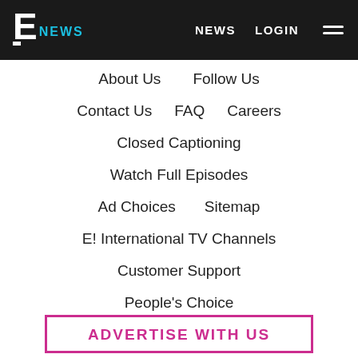E! NEWS | NEWS | LOGIN
About Us   Follow Us
Contact Us   FAQ   Careers
Closed Captioning
Watch Full Episodes
Ad Choices   Sitemap
E! International TV Channels
Customer Support
People's Choice
People's Choice FAQ
Become an E! Influencer
ADVERTISE WITH US